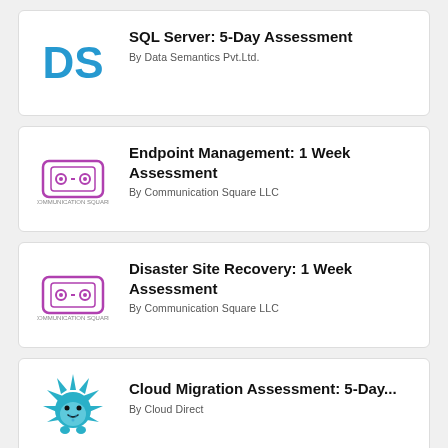[Figure (logo): DS logo in teal/blue for Data Semantics Pvt.Ltd.]
SQL Server: 5-Day Assessment
By Data Semantics Pvt.Ltd.
[Figure (logo): Communication Square LLC logo]
Endpoint Management: 1 Week Assessment
By Communication Square LLC
[Figure (logo): Communication Square LLC logo]
Disaster Site Recovery: 1 Week Assessment
By Communication Square LLC
[Figure (logo): Cloud Direct spiky hedgehog logo in teal/blue]
Cloud Migration Assessment: 5-Day...
By Cloud Direct
Cloud Migration Assessment: 5-Day